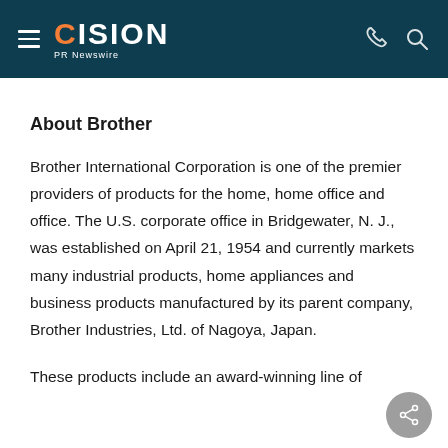CISION PR Newswire
About Brother
Brother International Corporation is one of the premier providers of products for the home, home office and office. The U.S. corporate office in Bridgewater, N. J., was established on April 21, 1954 and currently markets many industrial products, home appliances and business products manufactured by its parent company, Brother Industries, Ltd. of Nagoya, Japan.
These products include an award-winning line of